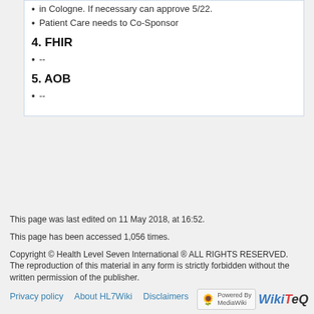in Cologne. If necessary can approve 5/22.
Patient Care needs to Co-Sponsor
4. FHIR
--
5. AOB
--
This page was last edited on 11 May 2018, at 16:52.
This page has been accessed 1,056 times.
Copyright © Health Level Seven International ® ALL RIGHTS RESERVED. The reproduction of this material in any form is strictly forbidden without the written permission of the publisher.
Privacy policy   About HL7Wiki   Disclaimers